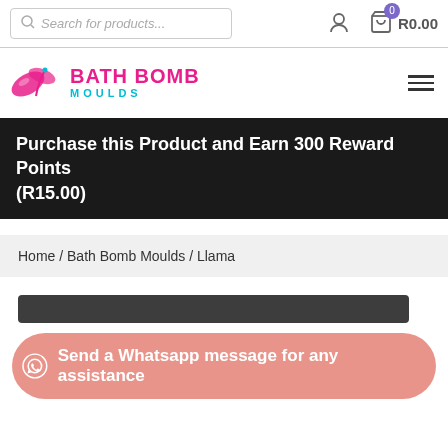Search for products... | user icon | cart R0.00
[Figure (logo): Bath Bomb Moulds logo with butterfly/leaf pink icon, pink text BATH BOMB and teal text MOULDS]
Purchase this Product and Earn 300 Reward Points (R15.00)
Home / Bath Bomb Moulds / Llama
[Figure (screenshot): Dark grey horizontal bar, partial product image area]
Send a Whatsapp message for any assistance